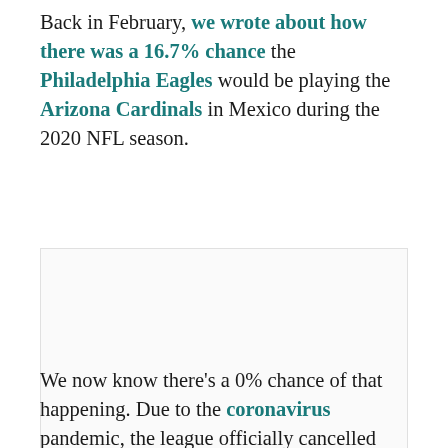Back in February, we wrote about how there was a 16.7% chance the Philadelphia Eagles would be playing the Arizona Cardinals in Mexico during the 2020 NFL season.
[Figure (other): Advertisement placeholder box with 'AD' label in gray]
We now know there's a 0% chance of that happening. Due to the coronavirus pandemic, the league officially cancelled international games this...